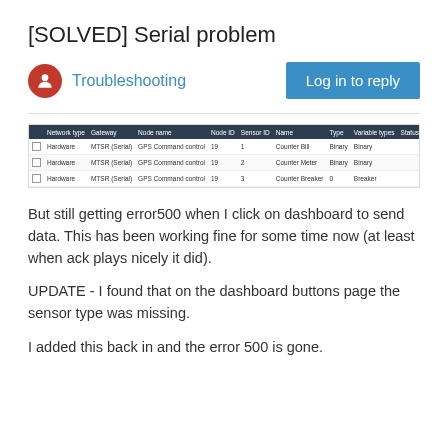[SOLVED] Serial problem
Troubleshooting
[Figure (screenshot): Screenshot of a data table with columns: Network type, Gateway, Node name, Node ID, Sensor ID, Name, Type, Variable types, Status, Last seen. Three rows showing Hardware, MTSR (Serial), GPS Command control entries with Binary type values.]
But still getting error500 when I click on dashboard to send data. This has been working fine for some time now (at least when ack plays nicely it did).
UPDATE - I found that on the dashboard buttons page the sensor type was missing.
I added this back in and the error 500 is gone.